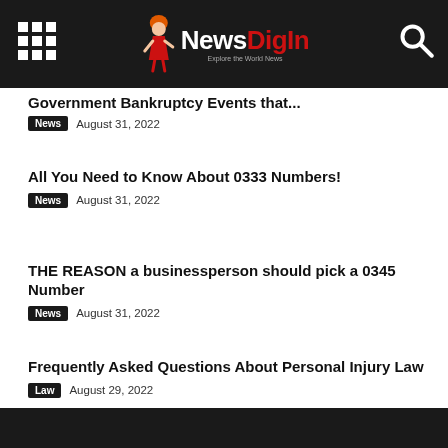NewsDigIn
...Government Bankruptcy Events that...
News   August 31, 2022
All You Need to Know About 0333 Numbers!
News   August 31, 2022
THE REASON a businessperson should pick a 0345 Number
News   August 31, 2022
Frequently Asked Questions About Personal Injury Law
Law   August 29, 2022